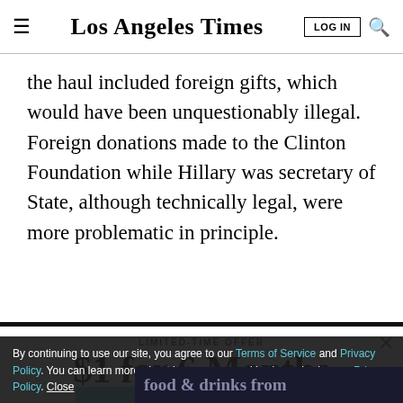Los Angeles Times
the haul included foreign gifts, which would have been unquestionably illegal. Foreign donations made to the Clinton Foundation while Hillary was secretary of State, although technically legal, were more problematic in principle.
LIMITED-TIME OFFER
$1 for 6 Months
SUBSCRIBE NOW
By continuing to use our site, you agree to our Terms of Service and Privacy Policy. You can learn more about how we use cookies by reviewing our Privacy Policy. Close